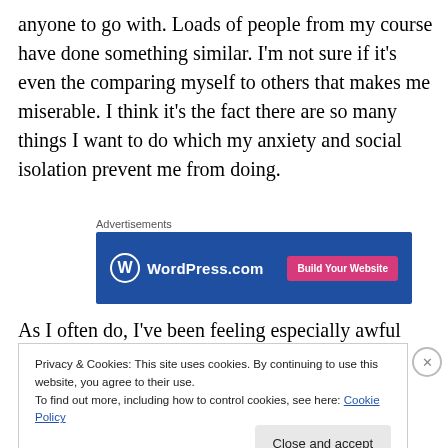anyone to go with. Loads of people from my course have done something similar. I'm not sure if it's even the comparing myself to others that makes me miserable. I think it's the fact there are so many things I want to do which my anxiety and social isolation prevent me from doing.
[Figure (other): WordPress.com advertisement banner with blue background, WordPress logo on left, and 'Build Your Website' pink button on right. Labeled 'Advertisements' above.]
As I often do, I've been feeling especially awful about my
Privacy & Cookies: This site uses cookies. By continuing to use this website, you agree to their use.
To find out more, including how to control cookies, see here: Cookie Policy